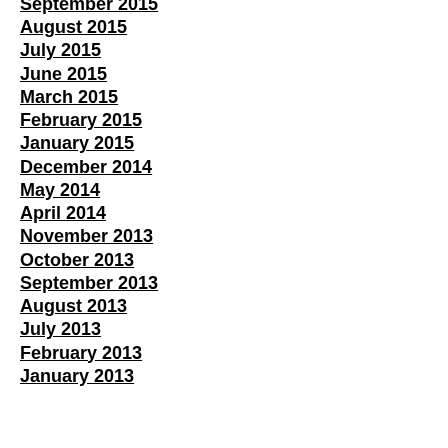September 2015
August 2015
July 2015
June 2015
March 2015
February 2015
January 2015
December 2014
May 2014
April 2014
November 2013
October 2013
September 2013
August 2013
July 2013
February 2013
January 2013